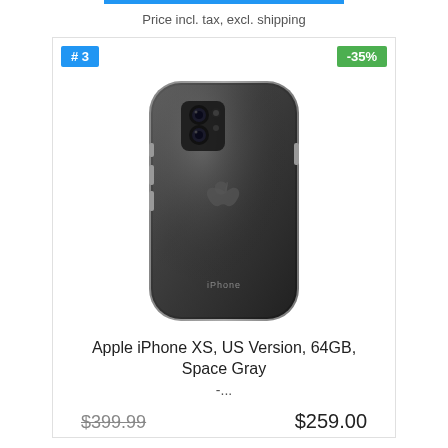Price incl. tax, excl. shipping
[Figure (photo): Back view of Apple iPhone XS in Space Gray color with dual camera and Apple logo visible]
# 3
-35%
Apple iPhone XS, US Version, 64GB, Space Gray
...
$399.99
$259.00